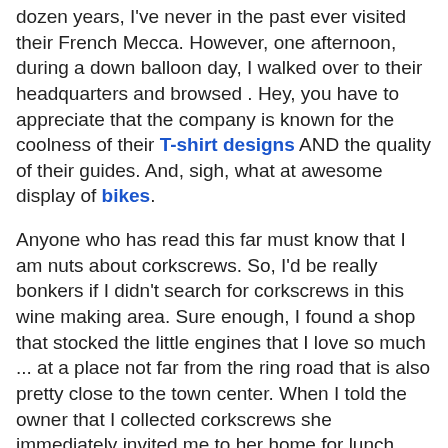dozen years, I've never in the past ever visited their French Mecca. However, one afternoon, during a down balloon day, I walked over to their headquarters and browsed . Hey, you have to appreciate that the company is known for the coolness of their T-shirt designs AND the quality of their guides. And, sigh, what at awesome display of bikes.
Anyone who has read this far must know that I am nuts about corkscrews. So, I'd be really bonkers if I didn't search for corkscrews in this wine making area. Sure enough, I found a shop that stocked the little engines that I love so much ... at a place not far from the ring road that is also pretty close to the town center. When I told the owner that I collected corkscrews she immediately invited me to her home for lunch ... JUST LIKE THAT. I mean she locked up the shop and drove me to her home. It seems that her late husband also collected corkscrews. Anyway, we (with her son, Pierre and his wife) had a wonderful lunch along with a bottle of wine that she had bottled from the year of Pierre's birth (1971). I hope to see them again when we return to Burgundy for a glass...